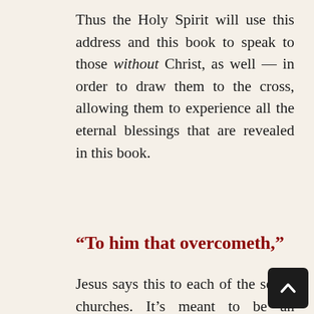Thus the Holy Spirit will use this address and this book to speak to those without Christ, as well — in order to draw them to the cross, allowing them to experience all the eternal blessings that are revealed in this book.
“To him that overcometh,”
Jesus says this to each of the seven churches. It’s meant to be an encouragement to all Christians to